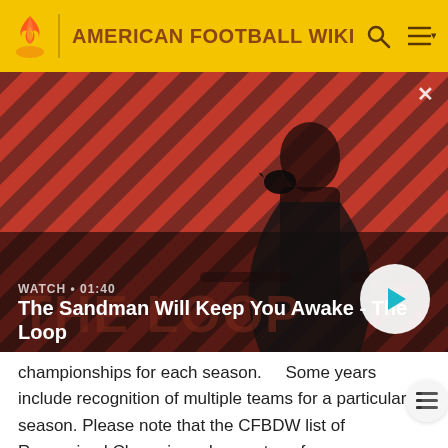AMERICAN FOOTBALL WIKI
[Figure (screenshot): Video banner showing a man in black cloak with a black bird on his shoulder against red and dark diagonal striped background. Overlay text: WATCH • 01:40 and title 'The Sandman Will Keep You Awake - The Loop'. Play button on right.]
championships for each season.     Some years include recognition of multiple teams for a particular season. Please note that the CFBDW list of Recognized Champions does not confer any additional legitimacy to the titles. In this regard, some universities claim championships not recognized by CFBDW or do not claim championships that